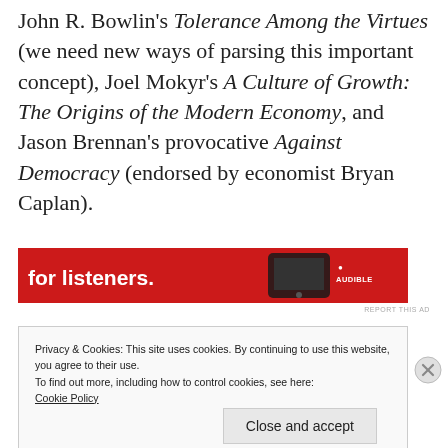John R. Bowlin's Tolerance Among the Virtues (we need new ways of parsing this important concept), Joel Mokyr's A Culture of Growth: The Origins of the Modern Economy, and Jason Brennan's provocative Against Democracy (endorsed by economist Bryan Caplan).
[Figure (other): Red advertisement banner with text 'for listeners.' and a device image and logo on the right]
REPORT THIS AD
Privacy & Cookies: This site uses cookies. By continuing to use this website, you agree to their use.
To find out more, including how to control cookies, see here:
Cookie Policy